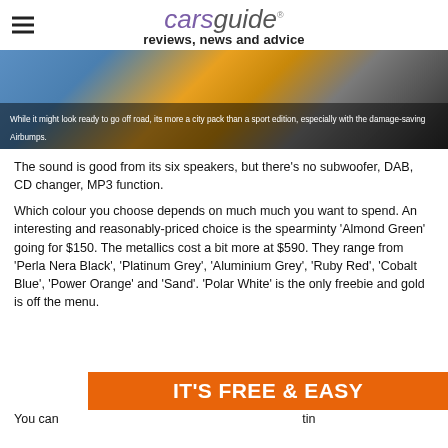carsguide reviews, news and advice
[Figure (photo): Close-up photo of a blue car with an orange/yellow bollard visible, showing the lower side of the vehicle with a tyre.]
While it might look ready to go off road, its more a city pack than a sport edition, especially with the damage-saving Airbumps.
The sound is good from its six speakers, but there's no subwoofer, DAB, CD changer, MP3 function.
Which colour you choose depends on much much you want to spend. An interesting and reasonably-priced choice is the spearminty 'Almond Green' going for $150. The metallics cost a bit more at $590. They range from 'Perla Nera Black', 'Platinum Grey', 'Aluminium Grey', 'Ruby Red', 'Cobalt Blue', 'Power Orange' and 'Sand'. 'Polar White' is the only freebie and gold is off the menu.
[Figure (infographic): Orange banner with white bold text reading IT'S FREE & EASY]
You can ... tin